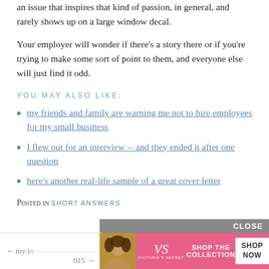an issue that inspires that kind of passion, in general, and rarely shows up on a large window decal.
Your employer will wonder if there’s a story there or if you’re trying to make some sort of point to them, and everyone else will just find it odd.
YOU MAY ALSO LIKE:
my friends and family are warning me not to hire employees for my small business
I flew out for an interview -- and they ended it after one question
here’s another real-life sample of a great cover letter
Posted in SHORT ANSWERS
[Figure (advertisement): Victoria's Secret advertisement with CLOSE button, model photo, VS logo, SHOP THE COLLECTION text, and SHOP NOW button on pink background]